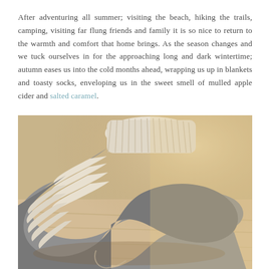After adventuring all summer; visiting the beach, hiking the trails, camping, visiting far flung friends and family it is so nice to return to the warmth and comfort that home brings. As the season changes and we tuck ourselves in for the approaching long and dark wintertime; autumn eases us into the cold months ahead, wrapping us up in blankets and toasty socks, enveloping us in the sweet smell of mulled apple cider and salted caramel.
[Figure (photo): A pair of grey and white striped wool socks bunched together on a warm wooden floor, lit by soft natural light. Sepia-toned warm photograph.]